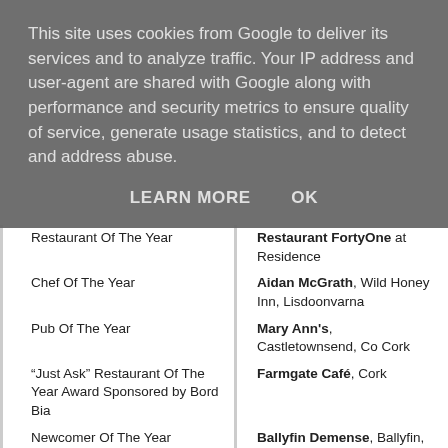This site uses cookies from Google to deliver its services and to analyze traffic. Your IP address and user-agent are shared with Google along with performance and security metrics to ensure quality of service, generate usage statistics, and to detect and address abuse.
LEARN MORE   OK
| Award | Winner |
| --- | --- |
| Restaurant Of The Year | Restaurant FortyOne at Residence |
| Chef Of The Year | Aidan McGrath, Wild Honey Inn, Lisdoonvarna |
| Pub Of The Year | Mary Ann's, Castletownsend, Co Cork |
| “Just Ask” Restaurant Of The Year Award Sponsored by Bord Bia | Farmgate Café, Cork |
| Newcomer Of The Year | Ballyfin Demense, Ballyfin, Co. Laois |
| Outstanding Service Award | Chapter One, 18 - 19 Parnell Square, Dublin |
| Good Housekeeping Award | Ballymaloe House, Shanagarry, Co. Cork |
| Good Cooking Award | Ballymaloe House, Shanagarry, Co. Cork |
| Natural Food Award | Country Choice, Nenagh, Co. |